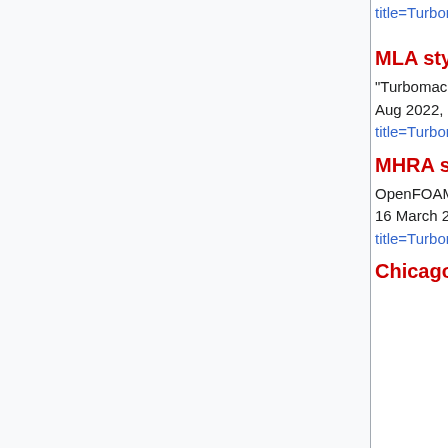title=Turbomachinery_Special_Interest_Gr
MLA style
"Turbomachinery Special Interest Group." OpenFOAM Wiki, . 16 Mar 2022, 10:26 UTC. 24 Aug 2022, 05:33 <https://wiki.openfoam.com/index.php?title=Turbomachinery_Special_Interest_Gr
MHRA style
OpenFOAM Wiki contributors, 'Turbomachinery Special Interest Group', OpenFOAM Wiki, , 16 March 2022, 10:26 UTC, <https://wiki.openfoam.com/index.php?title=Turbomachinery_Special_Interest_Gr [accessed 24 August 2022]
Chicago style